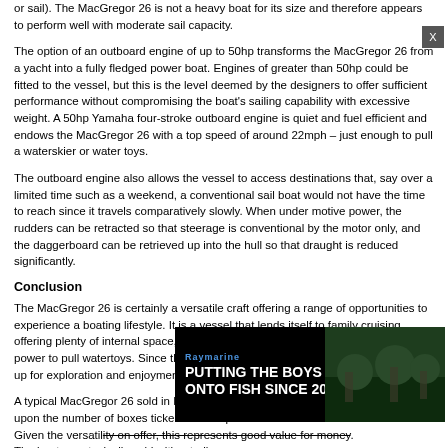or sail). The MacGregor 26 is not a heavy boat for its size and therefore appears to perform well with moderate sail capacity.
The option of an outboard engine of up to 50hp transforms the MacGregor 26 from a yacht into a fully fledged power boat. Engines of greater than 50hp could be fitted to the vessel, but this is the level deemed by the designers to offer sufficient performance without compromising the boat's sailing capability with excessive weight. A 50hp Yamaha four-stroke outboard engine is quiet and fuel efficient and endows the MacGregor 26 with a top speed of around 22mph – just enough to pull a waterskier or water toys.
The outboard engine also allows the vessel to access destinations that, say over a limited time such as a weekend, a conventional sail boat would not have the time to reach since it travels comparatively slowly. When under motive power, the rudders can be retracted so that steerage is conventional by the motor only, and the daggerboard can be retrieved up into the hull so that draught is reduced significantly.
Conclusion
The MacGregor 26 is certainly a versatile craft offering a range of opportunities to experience a boating lifestyle. It is a vessel that lends itself to family cruising offering plenty of internal space, yet also has sufficient performance under engine power to pull watertoys. Since the boat is trailerable, many waterways are opened up for exploration and enjoyment and a large 4WD is not necessary to tow it.
A typical MacGregor 26 sold in NZ will set you back around $86,000 depending upon the number of boxes ticked on the options list.
Given the versatility on offer, this represents good value for money.
The boats a...ailer.
[Figure (infographic): Advertisement banner with dark background showing Raymarine logo, text 'PUTTING THE BOYS ONTO FISH SINCE 2015' with fishing scene image on the right, and a close button marked X]
Specificati...